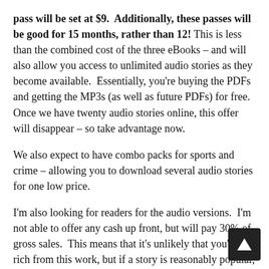pass will be set at $9.  Additionally, these passes will be good for 15 months, rather than 12! This is less than the combined cost of the three eBooks – and will also allow you access to unlimited audio stories as they become available.  Essentially, you're buying the PDFs and getting the MP3s (as well as future PDFs) for free.  Once we have twenty audio stories online, this offer will disappear – so take advantage now.
We also expect to have combo packs for sports and crime – allowing you to download several audio stories for one low price.
I'm also looking for readers for the audio versions.  I'm not able to offer any cash up front, but will pay 30% of gross sales.  This means that it's unlikely that you'll get rich from this work, but if a story is reasonably popular, you might make a few bucks and gain some exposure.  If you're a longtime reader of The Sean Boxers, perhaps you'd be interested in